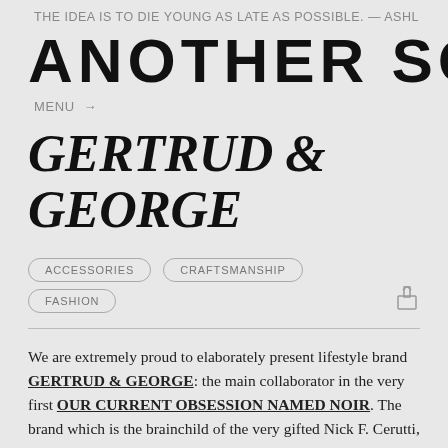THE IDEA IS TO DIE YOUNG AS LATE AS POSSIBLE. — ASHL
ANOTHER SOME
MENU →
GERTRUD & GEORGE
ACCESSORIES
CRAFTSMANSHIP
FASHION
We are extremely proud to elaborately present lifestyle brand GERTRUD & GEORGE: the main collaborator in the very first OUR CURRENT OBSESSION NAMED NOIR. The brand which is the brainchild of the very gifted Nick F. Cerutti, is a tribute to Gertrude Stein and George Sand, whose lives and respective bodies of work never ceased to redefine the art of writing and one's perception of gender. Founded in 2001 to serve